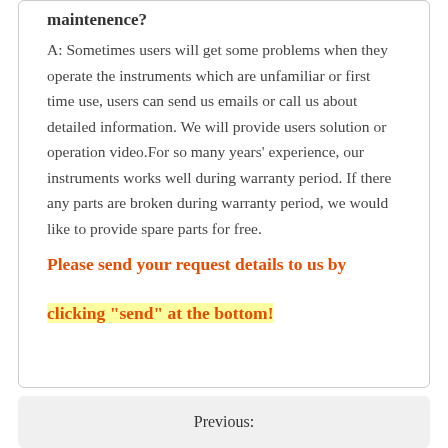maintenence?
A: Sometimes users will get some problems when they operate the instruments which are unfamiliar or first time use, users can send us emails or call us about detailed information. We will provide users solution or operation video.For so many years' experience, our instruments works well during warranty period. If there any parts are broken during warranty period, we would like to provide spare parts for free.
Please send your request details to us by clicking "send" at the bottom!
Previous: